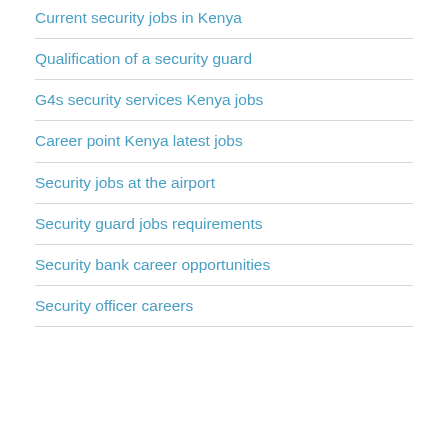Current security jobs in Kenya
Qualification of a security guard
G4s security services Kenya jobs
Career point Kenya latest jobs
Security jobs at the airport
Security guard jobs requirements
Security bank career opportunities
Security officer careers